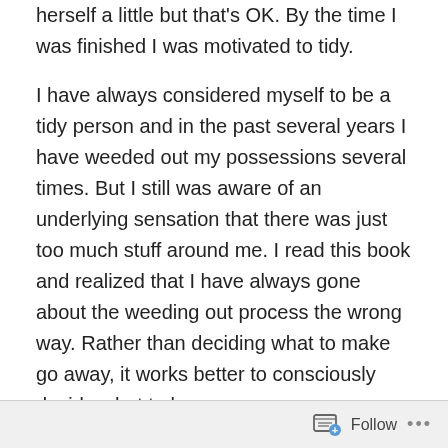herself a little but that's OK. By the time I was finished I was motivated to tidy.
I have always considered myself to be a tidy person and in the past several years I have weeded out my possessions several times. But I still was aware of an underlying sensation that there was just too much stuff around me. I read this book and realized that I have always gone about the weeding out process the wrong way. Rather than deciding what to make go away, it works better to consciously decide what to keep.
She recommends starting with your clothes. Take everything out of the closet, out of your drawers. Pile them on the floor or bed. Don't do this room by room. If you
Follow ···